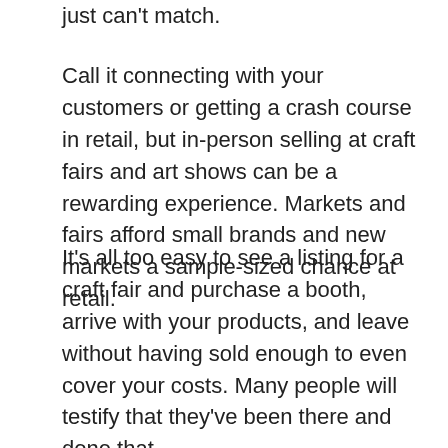just can't match.
Call it connecting with your customers or getting a crash course in retail, but in-person selling at craft fairs and art shows can be a rewarding experience. Markets and fairs afford small brands and new markets a sample-sized chance at retail.
It's all too easy to see a listing for a craft fair and purchase a booth, arrive with your products, and leave without having sold enough to even cover your costs. Many people will testify that they've been there and done that.